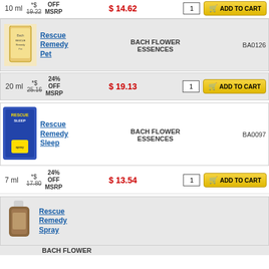10 ml  *$ 19.22 OFF MSRP  $ 14.62  1  ADD TO CART
[Figure (photo): Rescue Remedy Pet product bottle]
Rescue Remedy Pet  BACH FLOWER ESSENCES  BA0126
20 ml  *$ 25.16  24% OFF MSRP  $ 19.13  1  ADD TO CART
[Figure (photo): Rescue Remedy Sleep product blister pack]
Rescue Remedy Sleep  BACH FLOWER ESSENCES  BA0097
7 ml  *$ 17.80  24% OFF MSRP  $ 13.54  1  ADD TO CART
[Figure (photo): Rescue Remedy Spray product bottle]
Rescue Remedy Spray  BACH FLOWER
BACH FLOWER